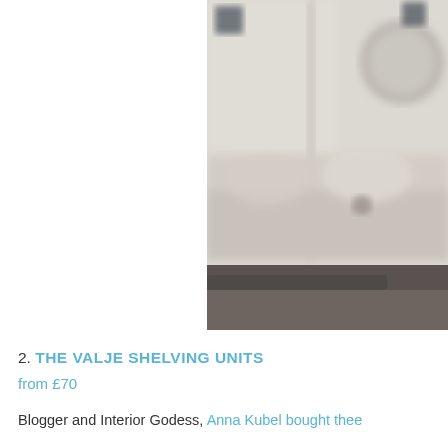[Figure (photo): Blurred interior room photo showing a light-coloured sofa/seating area with decorative elements, a circular mirror frame, dark accent squares, and a dark bottom strip — styled home interior image]
2. THE VALJE SHELVING UNITS
from £70
Blogger and Interior Godess, Anna Kubel bought thee